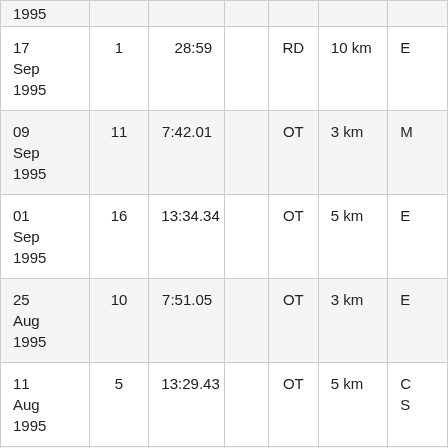| Date | # | Time |  | Type | Distance |  |
| --- | --- | --- | --- | --- | --- | --- |
| 1995 (partial) |  |  |  |  |  |  |
| 17 Sep 1995 | 1 | 28:59 |  | RD | 10 km | E |
| 09 Sep 1995 | 11 | 7:42.01 |  | OT | 3 km | M |
| 01 Sep 1995 | 16 | 13:34.34 |  | OT | 5 km | E |
| 25 Aug 1995 | 10 | 7:51.05 |  | OT | 3 km | E |
| 11 Aug 1995 | 5 | 13:29.43 |  | OT | 5 km | C S |
| 21 Jul ... | 9 | 7:41.60 |  | OT | 3 km | C |